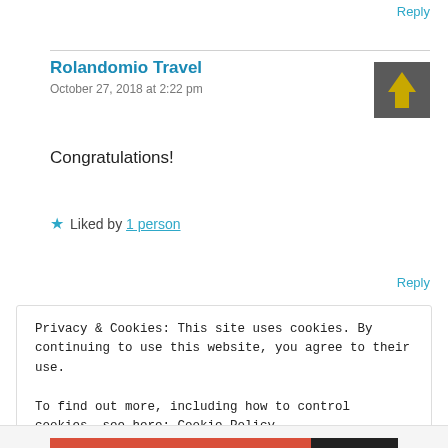Reply
Rolandomio Travel
October 27, 2018 at 2:22 pm
[Figure (illustration): Dark gray square avatar with an upward-pointing yellow arrow icon in the center]
Congratulations!
★ Liked by 1 person
Reply
Privacy & Cookies: This site uses cookies. By continuing to use this website, you agree to their use.
To find out more, including how to control cookies, see here: Cookie Policy
Close and accept